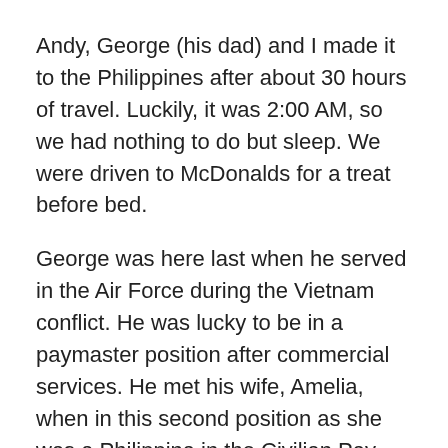Andy, George (his dad) and I made it to the Philippines after about 30 hours of travel. Luckily, it was 2:00 AM, so we had nothing to do but sleep. We were driven to McDonalds for a treat before bed.
George was here last when he served in the Air Force during the Vietnam conflict. He was lucky to be in a paymaster position after commercial services. He met his wife, Amelia, when in this second position as she was a Philippina in the Civilian Pay department. They met at a Christmas party on base and were married 10 months later in Oct. of 68.
They lived in the de la Cruz family house until George's term was up around Oct. of '69. That's when George and "Mellie" left the Philippines for 6 mo. leave in St. Louis.